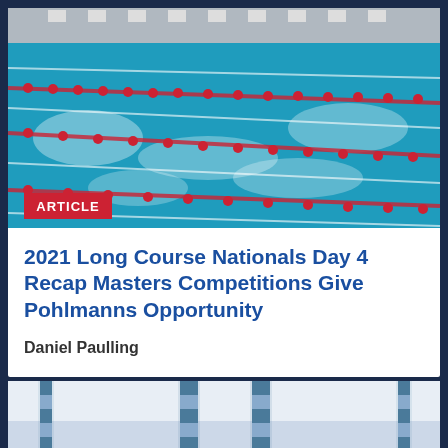[Figure (photo): Overhead view of a swimming pool with lane lines, blue water with white splashes, red and white lane dividers, spectator stands with flags in the background]
ARTICLE
2021 Long Course Nationals Day 4 Recap Masters Competitions Give Pohlmanns Opportunity
Daniel Paulling
[Figure (photo): Close-up view of swimming pool lane dividers/poles with blue and green segments against a pale sky background]